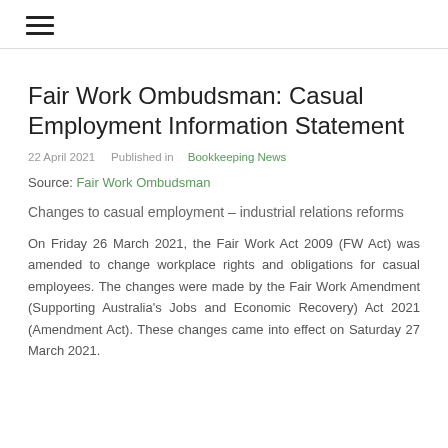☰ (hamburger menu icon)
Fair Work Ombudsman: Casual Employment Information Statement
22 April 2021    Published in Bookkeeping News
Source: Fair Work Ombudsman
Changes to casual employment – industrial relations reforms
On Friday 26 March 2021, the Fair Work Act 2009 (FW Act) was amended to change workplace rights and obligations for casual employees. The changes were made by the Fair Work Amendment (Supporting Australia's Jobs and Economic Recovery) Act 2021 (Amendment Act). These changes came into effect on Saturday 27 March 2021.